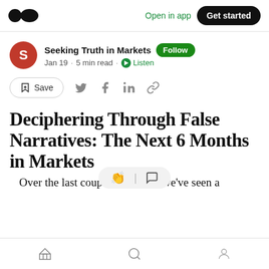Medium app header with logo, Open in app, Get started
Seeking Truth in Markets · Follow · Jan 19 · 5 min read · Listen
Save (social share icons)
Deciphering Through False Narratives: The Next 6 Months in Markets
Over the last couple of months we've seen a
Bottom navigation bar